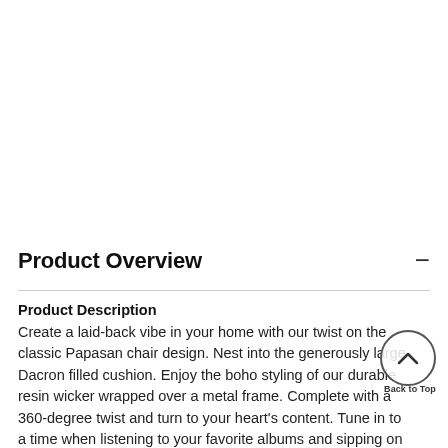Product Overview
Product Description
Create a laid-back vibe in your home with our twist on the classic Papasan chair design. Nest into the generously large Dacron filled cushion. Enjoy the boho styling of our durable resin wicker wrapped over a metal frame. Complete with a 360-degree twist and turn to your heart's content. Tune in to a time when listening to your favorite albums and sipping on a cool, refreshing drink was your only ambition for the day. Add a bit of fun to your